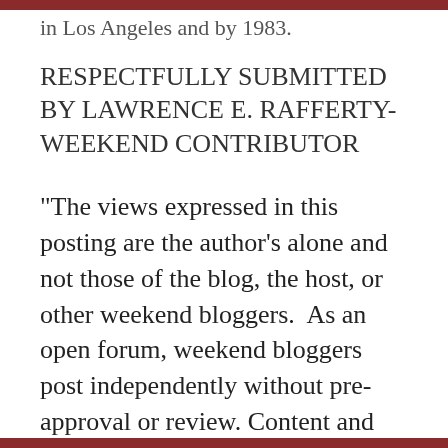in Los Angeles and by 1983.
RESPECTFULLY SUBMITTED BY LAWRENCE E. RAFFERTY-WEEKEND CONTRIBUTOR
“The views expressed in this posting are the author’s alone and not those of the blog, the host, or other weekend bloggers.  As an open forum, weekend bloggers post independently without pre-approval or review. Content and any displays or art are solely their decision and